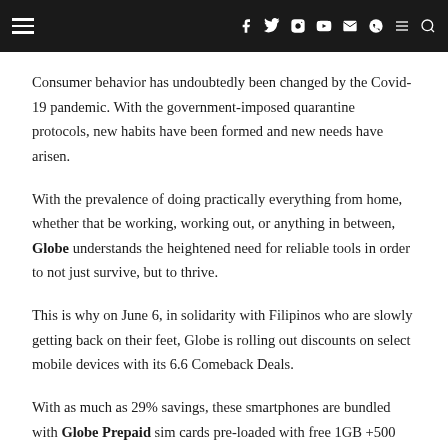Navigation bar with hamburger menu, social icons (Facebook, Twitter, Instagram, YouTube, Email, Viber), menu and search icons
Consumer behavior has undoubtedly been changed by the Covid-19 pandemic. With the government-imposed quarantine protocols, new habits have been formed and new needs have arisen.
With the prevalence of doing practically everything from home, whether that be working, working out, or anything in between, Globe understands the heightened need for reliable tools in order to not just survive, but to thrive.
This is why on June 6, in solidarity with Filipinos who are slowly getting back on their feet, Globe is rolling out discounts on select mobile devices with its 6.6 Comeback Deals.
With as much as 29% savings, these smartphones are bundled with Globe Prepaid sim cards pre-loaded with free 1GB +500 MB video